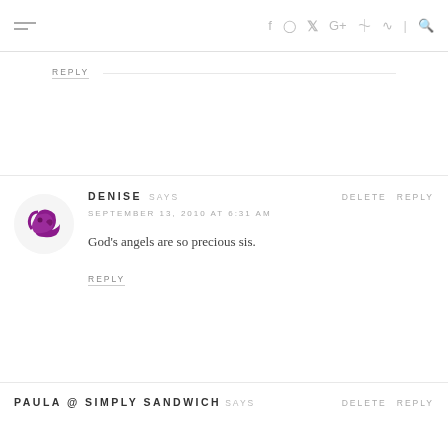Navigation bar with hamburger menu and social icons: f, Instagram, Twitter, G+, Pinterest, RSS, Search
REPLY
DENISE SAYS — SEPTEMBER 13, 2010 AT 6:31 AM — God's angels are so precious sis. — REPLY
PAULA @ SIMPLY SANDWICH SAYS DELETE REPLY